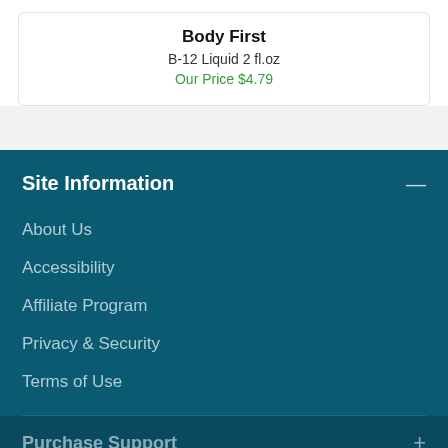Body First
B-12 Liquid 2 fl.oz
Our Price $4.79
Site Information
About Us
Accessibility
Affiliate Program
Privacy & Security
Terms of Use
Purchase Support
Our site uses cookies. By continuing to use our site you are agreeing to our cookies policy and privacy policy.